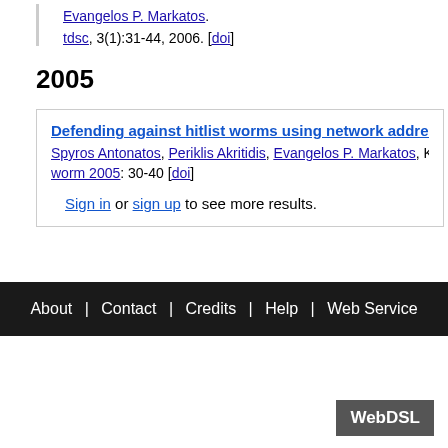Evangelos P. Markatos.
tdsc, 3(1):31-44, 2006. [doi]
2005
Defending against hitlist worms using network address spa...
Spyros Antonatos, Periklis Akritidis, Evangelos P. Markatos, Kos...
worm 2005: 30-40 [doi]
Sign in or sign up to see more results.
About | Contact | Credits | Help | Web Service
WebDSL